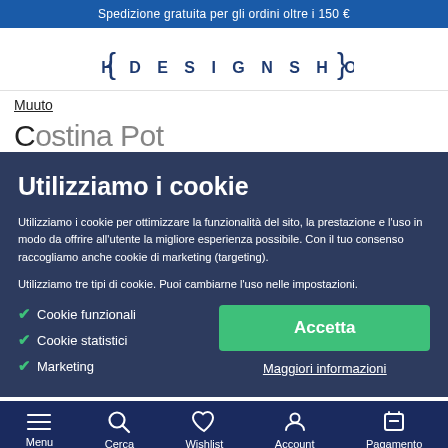Spedizione gratuita per gli ordini oltre i 150 €
[Figure (logo): Finnish Design Shop logo with curly braces]
Muuto
Utilizziamo i cookie
Utilizziamo i cookie per ottimizzare la funzionalità del sito, la prestazione e l'uso in modo da offrire all'utente la migliore esperienza possibile. Con il tuo consenso raccogliamo anche cookie di marketing (targeting).
Utilizziamo tre tipi di cookie. Puoi cambiarne l'uso nelle impostazioni.
Cookie funzionali
Cookie statistici
Marketing
Accetta
Maggiori informazioni
Menu  Cerca  Wishlist  Account  Pagamento